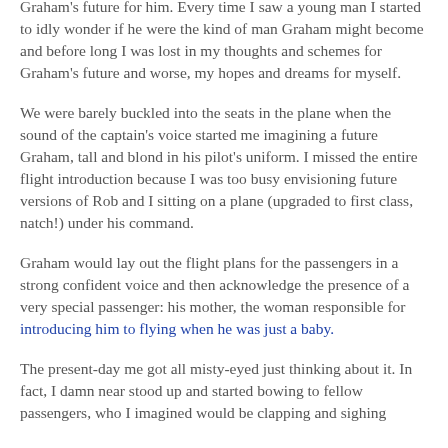Graham's future for him. Every time I saw a young man I started to idly wonder if he were the kind of man Graham might become and before long I was lost in my thoughts and schemes for Graham's future and worse, my hopes and dreams for myself.
We were barely buckled into the seats in the plane when the sound of the captain's voice started me imagining a future Graham, tall and blond in his pilot's uniform. I missed the entire flight introduction because I was too busy envisioning future versions of Rob and I sitting on a plane (upgraded to first class, natch!) under his command.
Graham would lay out the flight plans for the passengers in a strong confident voice and then acknowledge the presence of a very special passenger: his mother, the woman responsible for introducing him to flying when he was just a baby.
The present-day me got all misty-eyed just thinking about it. In fact, I damn near stood up and started bowing to fellow passengers, who I imagined would be clapping and sighing with the appreciation and reverence of the devoted.